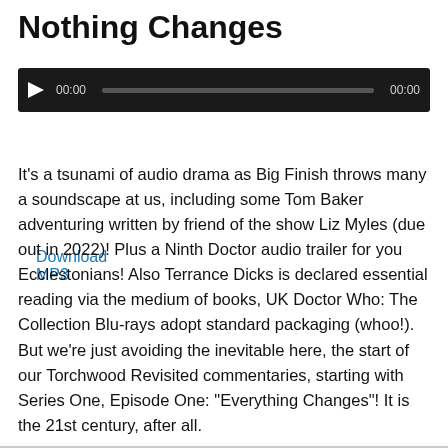Nothing Changes
[Figure (other): Audio player widget with dark background, play button, progress bar showing 00:00 on left and 00:00 on right]
Download MP3
It’s a tsunami of audio drama as Big Finish throws many a soundscape at us, including some Tom Baker adventuring written by friend of the show Liz Myles (due out in 2022)! Plus a Ninth Doctor audio trailer for you Ecclestonians! Also Terrance Dicks is declared essential reading via the medium of books, UK Doctor Who: The Collection Blu-rays adopt standard packaging (whoo!). But we’re just avoiding the inevitable here, the start of our Torchwood Revisited commentaries, starting with Series One, Episode One: “Everything Changes”! It is the 21st century, after all.